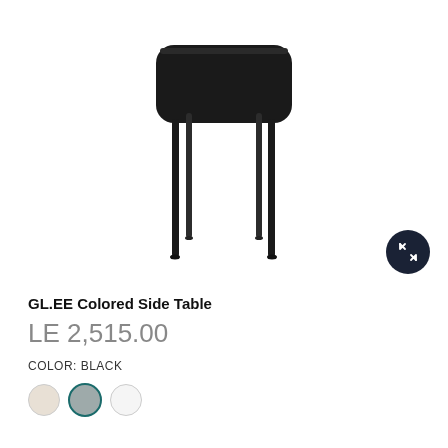[Figure (photo): A black minimalist side table with a rounded rectangular top surface and four thin metal legs, photographed on a white background.]
GL.EE Colored Side Table
LE 2,515.00
COLOR: BLACK
[Figure (other): Three color swatches: cream/beige, gray (selected, with teal border), and white.]